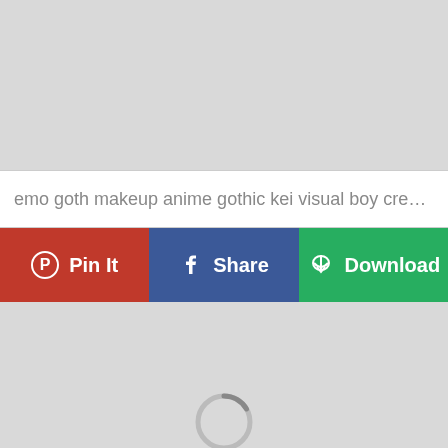[Figure (photo): Top gray placeholder image area]
emo goth makeup anime gothic kei visual boy creepy p...
[Figure (infographic): Three action buttons: Pin It (red), Share (blue), Download (green)]
[Figure (photo): Bottom gray placeholder image area with loading spinner at bottom]